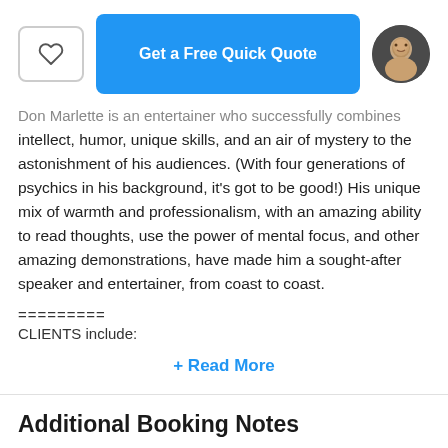[Figure (other): Heart icon button (favorite/save), blue 'Get a Free Quick Quote' button, and circular headshot photo of a man]
Don Marlette is an entertainer who successfully combines intellect, humor, unique skills, and an air of mystery to the astonishment of his audiences. (With four generations of psychics in his background, it's got to be good!) His unique mix of warmth and professionalism, with an amazing ability to read thoughts, use the power of mental focus, and other amazing demonstrations, have made him a sought-after speaker and entertainer, from coast to coast.
=========
CLIENTS include:
+ Read More
Additional Booking Notes